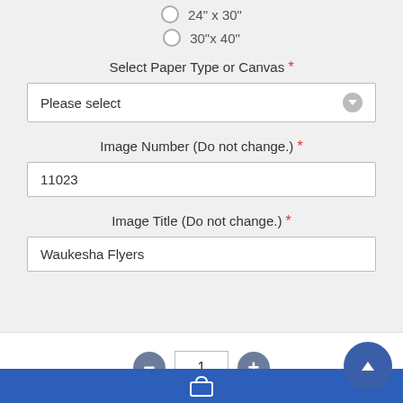24" x 30"
30"x 40"
Select Paper Type or Canvas *
Please select
Image Number (Do not change.) *
11023
Image Title (Do not change.) *
Waukesha Flyers
1